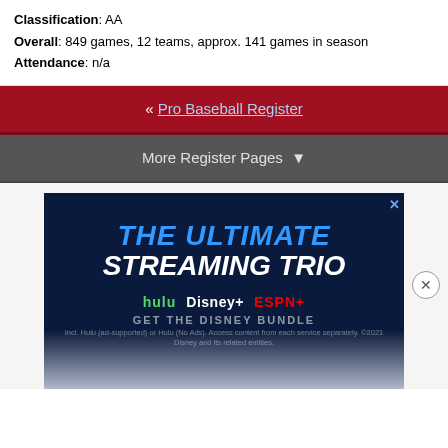Classification: AA
Overall: 849 games, 12 teams, approx. 141 games in season
Attendance: n/a
« Pro Baseball Register
More Register Pages ▼
[Figure (other): Advertisement banner for Disney Bundle streaming service featuring Hulu, Disney+, and ESPN+. Dark navy background with bold text 'THE ULTIMATE STREAMING TRIO' and streaming service logos.]